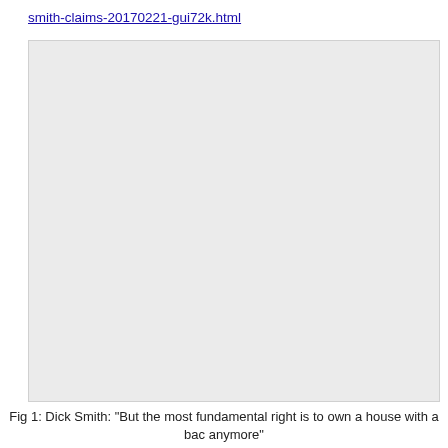smith-claims-20170221-gui72k.html
[Figure (other): A large light gray placeholder/blank image area]
Fig 1: Dick Smith: "But the most fundamental right is to own a house with a bac anymore"